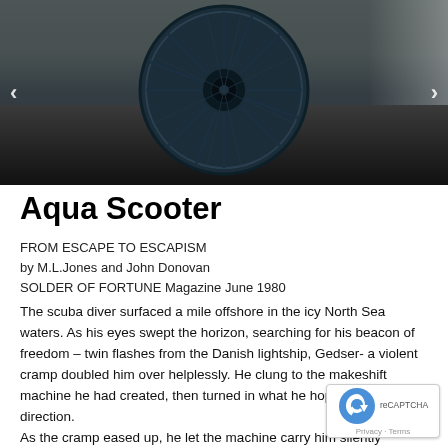[Figure (photo): Close-up front view of a circular underwater propeller/thruster device with radial fins, dark blue/black color, sitting on a dark surface with a light background visible at edges]
Aqua Scooter
FROM ESCAPE TO ESCAPISM
by M.L.Jones and John Donovan
SOLDER OF FORTUNE Magazine June 1980
The scuba diver surfaced a mile offshore in the icy North Sea waters. As his eyes swept the horizon, searching for his beacon of freedom – twin flashes from the Danish lightship, Gedser- a violent cramp doubled him over helplessly. He clung to the makeshift machine he had created, then turned in what he hoped was the right direction.
As the cramp eased up, he let the machine carry him silently